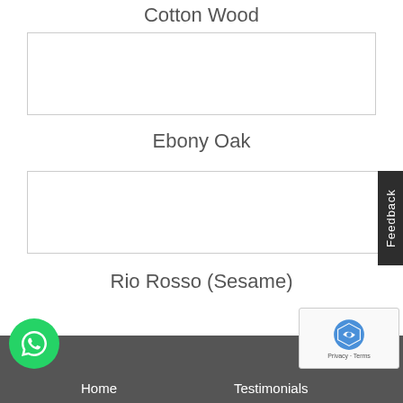Cotton Wood
[Figure (photo): Image placeholder box for Cotton Wood product]
Ebony Oak
[Figure (photo): Image placeholder box for Ebony Oak product]
Rio Rosso (Sesame)
Home    Testimonials